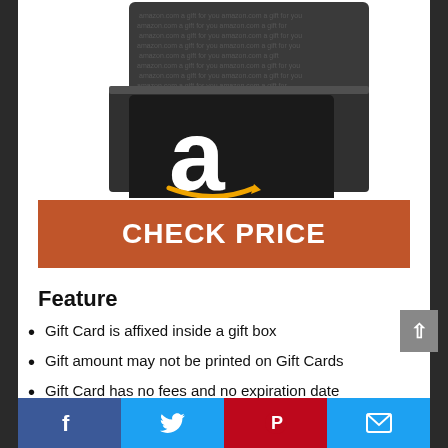[Figure (photo): Amazon gift card in an open dark gift box with Amazon logo visible]
CHECK PRICE
Feature
Gift Card is affixed inside a gift box
Gift amount may not be printed on Gift Cards
Gift Card has no fees and no expiration date
Facebook | Twitter | Pinterest | Email share buttons